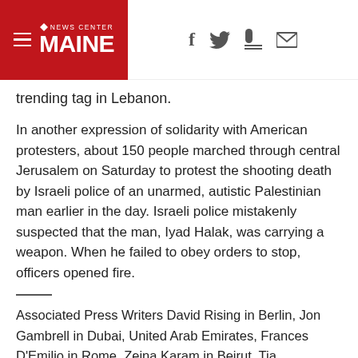News Center Maine
trending tag in Lebanon.
In another expression of solidarity with American protesters, about 150 people marched through central Jerusalem on Saturday to protest the shooting death by Israeli police of an unarmed, autistic Palestinian man earlier in the day. Israeli police mistakenly suspected that the man, Iyad Halak, was carrying a weapon. When he failed to obey orders to stop, officers opened fire.
Associated Press Writers David Rising in Berlin, Jon Gambrell in Dubai, United Arab Emirates, Frances D'Emilio in Rome, Zeina Karam in Beirut, Tia Goldenberg in Jerusalem, Ken Moritsugu in Beijing, Jari Tanner in Helsinki, Finland, and Jim Heintz in Moscow, contributed to this report.